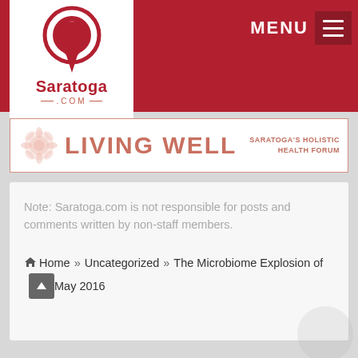[Figure (logo): Saratoga.com logo: map pin icon with building, text 'Saratoga' and '.com' below, in red and white.]
MENU
[Figure (logo): Living Well - Saratoga's Holistic Health Forum banner with decorative rosette]
Note: Saratoga.com is not responsible for posts and comments written by non-staff members.
Home » Uncategorized » The Microbiome Explosion of May 2016